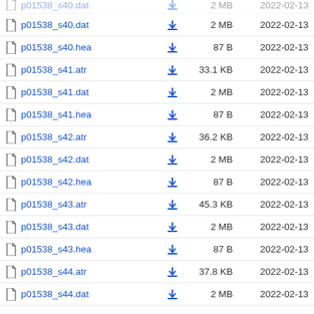p01538_s40.dat  2 MB  2022-02-13
p01538_s40.hea  87 B  2022-02-13
p01538_s41.atr  33.1 KB  2022-02-13
p01538_s41.dat  2 MB  2022-02-13
p01538_s41.hea  87 B  2022-02-13
p01538_s42.atr  36.2 KB  2022-02-13
p01538_s42.dat  2 MB  2022-02-13
p01538_s42.hea  87 B  2022-02-13
p01538_s43.atr  45.3 KB  2022-02-13
p01538_s43.dat  2 MB  2022-02-13
p01538_s43.hea  87 B  2022-02-13
p01538_s44.atr  37.8 KB  2022-02-13
p01538_s44.dat  2 MB  2022-02-13